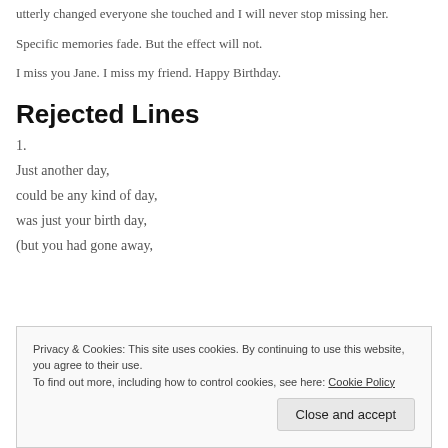utterly changed everyone she touched and I will never stop missing her.
Specific memories fade. But the effect will not.
I miss you Jane. I miss my friend. Happy Birthday.
Rejected Lines
1.
Just another day,
could be any kind of day,
was just your birth day,
(but you had gone away,
Privacy & Cookies: This site uses cookies. By continuing to use this website, you agree to their use. To find out more, including how to control cookies, see here: Cookie Policy